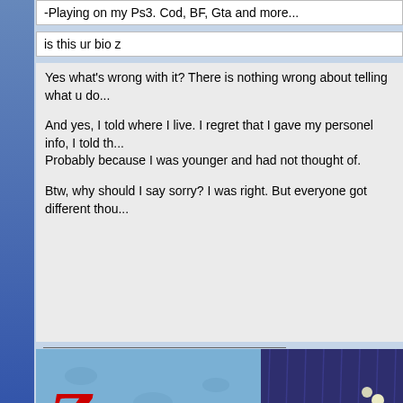-Playing on my Ps3. Cod, BF, Gta and more...
is this ur bio z
Yes what's wrong with it? There is nothing wrong about telling what u do...
And yes, I told where I live. I regret that I gave my personel info, I told th... Probably because I was younger and had not thought of.
Btw, why should I say sorry? I was right. But everyone got different thou...
[Figure (illustration): Z-gamer banner with cartoon characters watching TV]
[Figure (other): Find button with magnifying glass icon]
08-03-2014, 03:28 AM
[Figure (illustration): User avatar - cartoon character with winter hat]
matt
Pickled
★★★